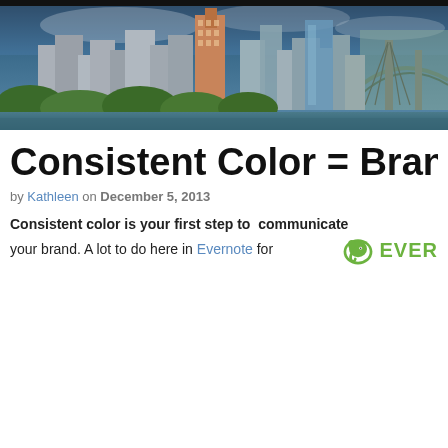[Figure (photo): City skyline panorama photo of Portland, Oregon showing downtown buildings, green trees in foreground, and a bridge on the right side.]
Communication notes from M
Business & Freelance   Marketing   Social Media   Technology   Bl
Outlook Automation with “Quick Steps”
Consistent Color = Brand Po
by Kathleen on December 5, 2013
Consistent color is your first step to  communicate your brand. A lot to do here in Evernote for